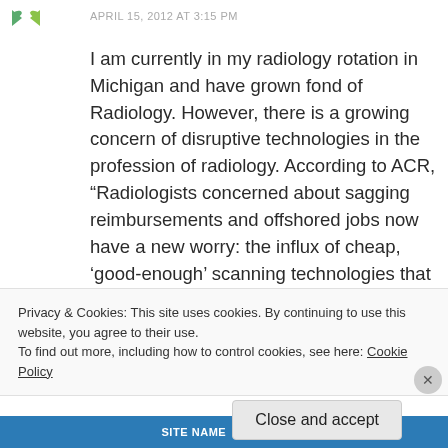[Figure (logo): Two small green leaf/arrow icons]
APRIL 15, 2012 AT 3:15 PM
I am currently in my radiology rotation in Michigan and have grown fond of Radiology. However, there is a growing concern of disruptive technologies in the profession of radiology. According to ACR, “Radiologists concerned about sagging reimbursements and offshored jobs now have a new worry: the influx of cheap, ‘good-enough’ scanning technologies that may enable competitors to infiltrate the world of radiology, compete on unequal terms
Privacy & Cookies: This site uses cookies. By continuing to use this website, you agree to their use.
To find out more, including how to control cookies, see here: Cookie Policy
Close and accept